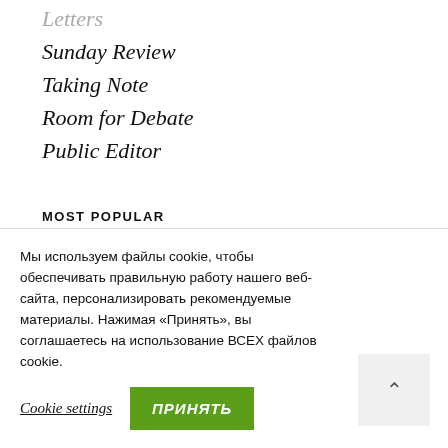Letters
Sunday Review
Taking Note
Room for Debate
Public Editor
MOST POPULAR
Art & Design
World
Мы используем файлы cookie, чтобы обеспечивать правильную работу нашего веб-сайта, персонализировать рекомендуемые материалы. Нажимая «Принять», вы соглашаетесь на использование ВСЕХ файлов cookie.
Cookie settings  ПРИНЯТЬ